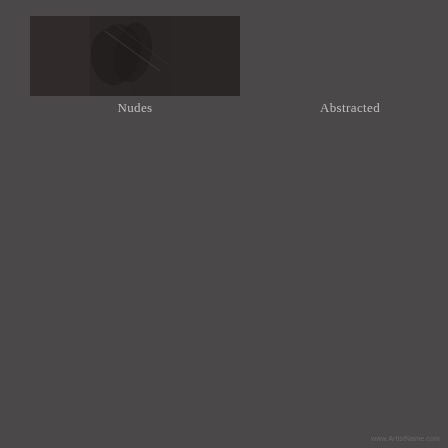[Figure (photo): Dark photographic image of a nude figure, rendered in dark tones of gray and brown, partially obscured]
Nudes
Abstracted